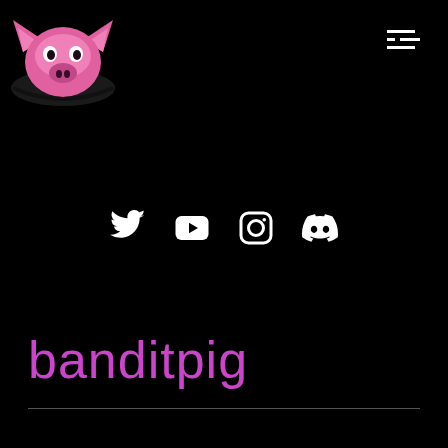[Figure (logo): Pink pixel-art stylized pig/boar head mascot logo with dark outline on black background, top-left corner]
[Figure (infographic): Hamburger menu icon (three horizontal lines) in white, top-right corner]
[Figure (infographic): Row of four social media icons in white: Twitter bird, YouTube play button, Instagram camera, Discord chat bubble]
banditpig
—